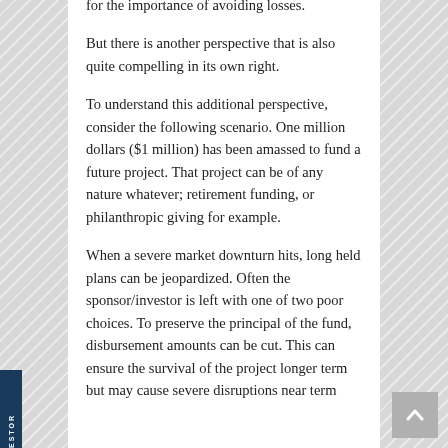for the importance of avoiding losses.
But there is another perspective that is also quite compelling in its own right.
To understand this additional perspective, consider the following scenario. One million dollars ($1 million) has been amassed to fund a future project. That project can be of any nature whatever; retirement funding, or philanthropic giving for example.
When a severe market downturn hits, long held plans can be jeopardized. Often the sponsor/investor is left with one of two poor choices. To preserve the principal of the fund, disbursement amounts can be cut. This can ensure the survival of the project longer term but may cause severe disruptions near term